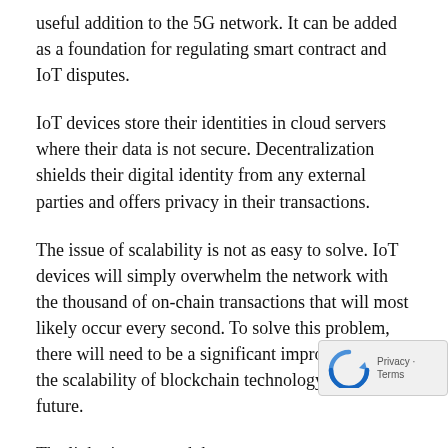useful addition to the 5G network. It can be added as a foundation for regulating smart contract and IoT disputes.
IoT devices store their identities in cloud servers where their data is not secure. Decentralization shields their digital identity from any external parties and offers privacy in their transactions.
The issue of scalability is not as easy to solve. IoT devices will simply overwhelm the network with the thousand of on-chain transactions that will most likely occur every second. To solve this problem, there will need to be a significant improvement in the scalability of blockchain technology in the near future.
The lightning network has seen some recent progress in this area, and the latest Bitcoin Cash ABC fork has been improving scalability due to an improvement in block sizes.